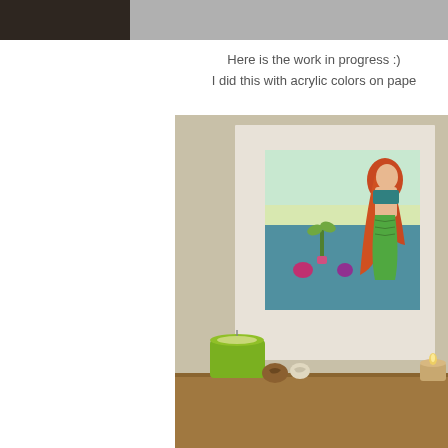[Figure (photo): Top bar with dark brown/black left section and gray right section]
Here is the work in progress :)
I did this with acrylic colors on pape
[Figure (photo): Photo of a mermaid painting displayed on a white mat board, sitting on a wooden surface with a green cylindrical candle, two small shells, and a small glass candle holder with lit candle. The painting shows a red-haired mermaid with a green tail in the ocean, with colorful sea creatures.]